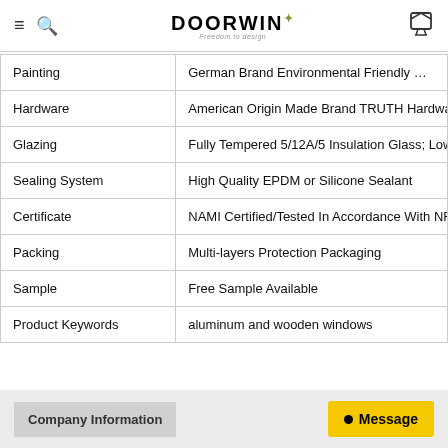DOORWIN — website header with hamburger menu, search icon, logo, and cart icon
| Attribute | Value |
| --- | --- |
| Painting | German Brand Environmental Friendly Water-B... |
| Hardware | American Origin Made Brand TRUTH Hardwar... |
| Glazing | Fully Tempered 5/12A/5 Insulation Glass; Low-... |
| Sealing System | High Quality EPDM or Silicone Sealant |
| Certificate | NAMI Certified/Tested In Accordance With NFR... |
| Packing | Multi-layers Protection Packaging |
| Sample | Free Sample Available |
| Product Keywords | aluminum and wooden windows |
Company Information
Message